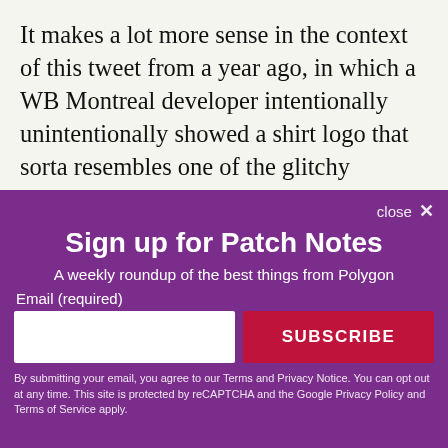It makes a lot more sense in the context of this tweet from a year ago, in which a WB Montreal developer intentionally unintentionally showed a shirt logo that sorta resembles one of the glitchy flashes, or at least happens to have an owl in it.
Sign up for Patch Notes
A weekly roundup of the best things from Polygon
Email (required)
SUBSCRIBE
By submitting your email, you agree to our Terms and Privacy Notice. You can opt out at any time. This site is protected by reCAPTCHA and the Google Privacy Policy and Terms of Service apply.